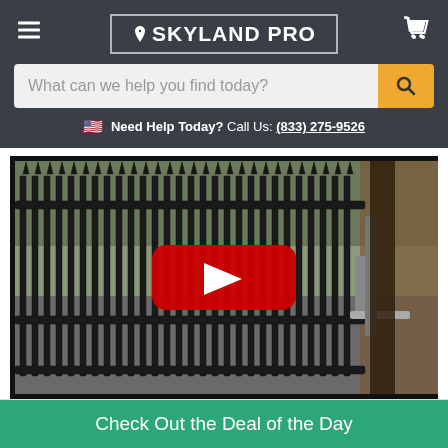SKYLAND PRO
What can we help you find today?
Need Help Today? Call Us: (833) 275-9526
[Figure (screenshot): YouTube video thumbnail showing a black iron gate with vertical bars being opened by an automatic gate opener motor. The gate appears to be sliding open on a residential property with grass visible in the background. A red YouTube play button is overlaid in the center.]
Check Out the Deal of the Day